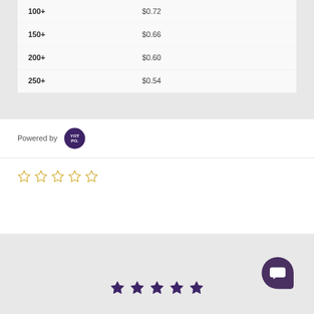| Quantity | Price |
| --- | --- |
| 100+ | $0.72 |
| 150+ | $0.66 |
| 200+ | $0.60 |
| 250+ | $0.54 |
[Figure (logo): Powered by YOTPO badge - dark purple circular logo with white text YOT PO.]
[Figure (other): Five empty star rating icons in gold/yellow outline]
[Figure (other): Chat support button - dark purple rounded square with speech bubble icon]
[Figure (other): Five solid filled dark purple star icons at bottom of page]